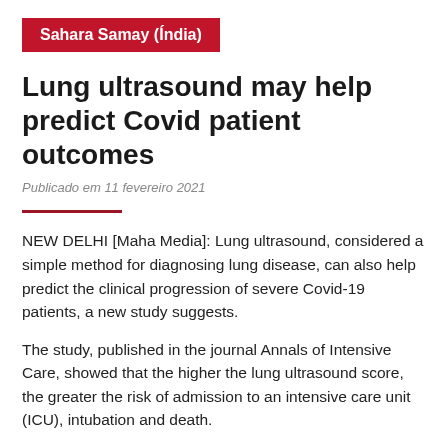Sahara Samay (Índia)
Lung ultrasound may help predict Covid patient outcomes
Publicado em 11 fevereiro 2021
NEW DELHI [Maha Media]: Lung ultrasound, considered a simple method for diagnosing lung disease, can also help predict the clinical progression of severe Covid-19 patients, a new study suggests.
The study, published in the journal Annals of Intensive Care, showed that the higher the lung ultrasound score, the greater the risk of admission to an intensive care unit (ICU), intubation and death.
"We found lung ultrasound to be a good predictor of the need for intensive care with endotracheal intubation and